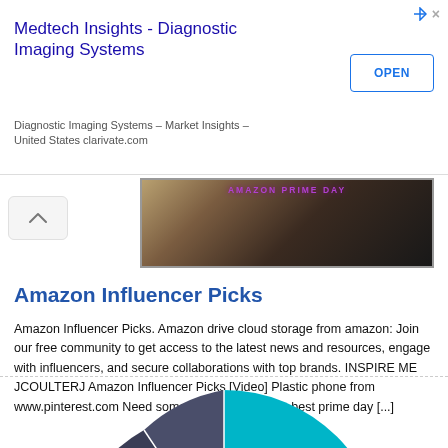[Figure (screenshot): Advertisement banner for Medtech Insights - Diagnostic Imaging Systems with OPEN button, play and close icons]
Medtech Insights - Diagnostic Imaging Systems
Diagnostic Imaging Systems – Market Insights – United States clarivate.com
[Figure (photo): Amazon Prime Day promotional image with purple text overlay showing 'AMAZON PRIME DAY' and golden/dark bokeh background]
Amazon Influencer Picks
Amazon Influencer Picks. Amazon drive cloud storage from amazon: Join our free community to get access to the latest news and resources, engage with influencers, and secure collaborations with top brands. INSPIRE ME JCOULTERJ Amazon Influencer Picks [Video] Plastic phone from www.pinterest.com Need some help choosing the best prime day [...]
[Figure (pie-chart): Partial pie/donut chart showing segments: Data & Measurement (dark blue-gray), Integrated Marketing Communication (dark blue-gray), Marketing Strategy (teal/cyan). Only top portion visible.]